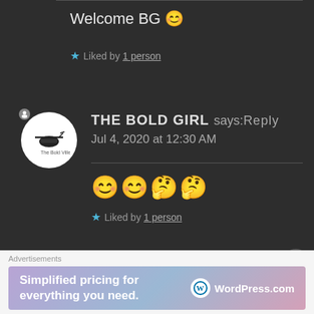Welcome BG 😊
★ Liked by 1 person
THE BOLD GIRL says: Reply
Jul 4, 2020 at 12:30 AM
😊😊🤔🤔
★ Liked by 1 person
Advertisements
Simplified pricing for everything you need. WordPress.com